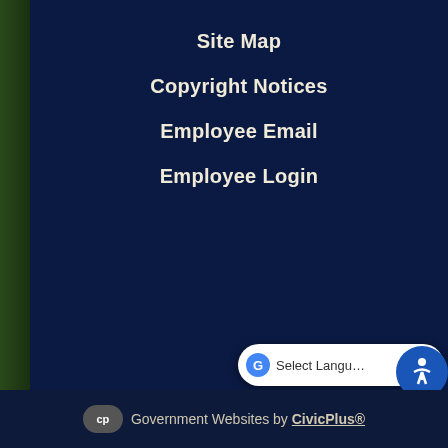Site Map
Copyright Notices
Employee Email
Employee Login
Government Websites by CivicPlus®